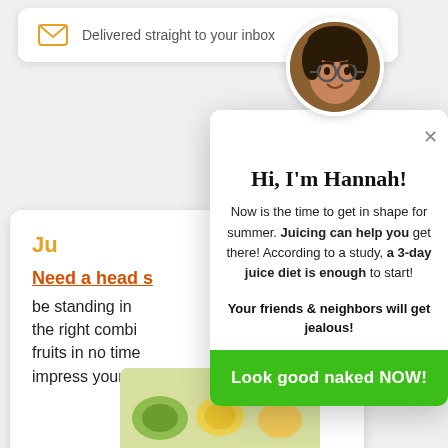Delivered straight to your inbox
Ju
Need a head s
be standing in 
the right combi
fruits in no time
impress your fa
Hi, I'm Hannah!
Now is the time to get in shape for summer. Juicing can help you get there! According to a study, a 3-day juice diet is enough to start!
Your friends & neighbors will get jealous!
Look good naked NOW!